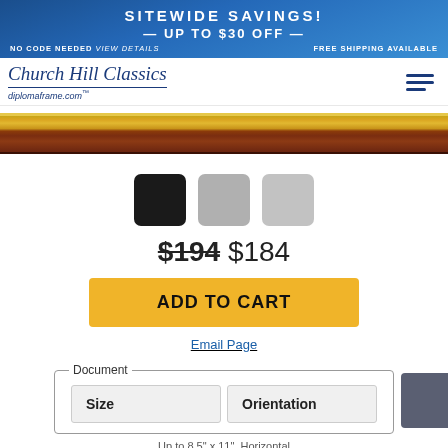SITEWIDE SAVINGS! UP TO $30 OFF | NO CODE NEEDED View details | FREE SHIPPING AVAILABLE
[Figure (logo): Church Hill Classics / diplomaframe.com logo with hamburger menu icon]
[Figure (photo): Close-up of a dark wood frame with gold trim]
[Figure (other): Three color swatches: black, medium gray, light gray]
$194 $184
ADD TO CART
Email Page
| Size | Orientation |
| --- | --- |
Up to 8.5" x 11", Horizontal